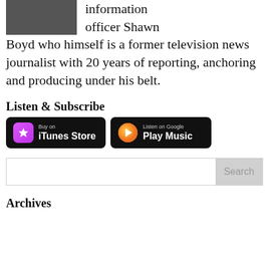[Figure (photo): Partial photo of a person in dark clothing, cropped at top of page]
information officer Shawn Boyd who himself is a former television news journalist with 20 years of reporting, anchoring and producing under his belt.
Listen & Subscribe
[Figure (other): Two app store badges: 'Buy on iTunes Store' and 'Listen on Google Play Music']
[Figure (other): Search bar with Search button]
Archives